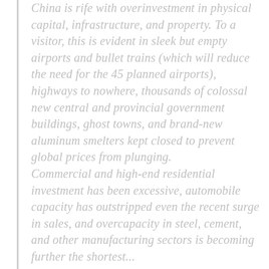China is rife with overinvestment in physical capital, infrastructure, and property. To a visitor, this is evident in sleek but empty airports and bullet trains (which will reduce the need for the 45 planned airports), highways to nowhere, thousands of colossal new central and provincial government buildings, ghost towns, and brand-new aluminum smelters kept closed to prevent global prices from plunging. Commercial and high-end residential investment has been excessive, automobile capacity has outstripped even the recent surge in sales, and overcapacity in steel, cement, and other manufacturing sectors is becoming further the shortest...